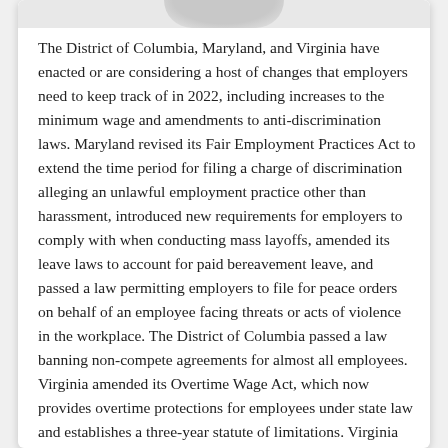[Figure (other): Partial image or graphic visible at the top of the page, cropped]
The District of Columbia, Maryland, and Virginia have enacted or are considering a host of changes that employers need to keep track of in 2022, including increases to the minimum wage and amendments to anti-discrimination laws. Maryland revised its Fair Employment Practices Act to extend the time period for filing a charge of discrimination alleging an unlawful employment practice other than harassment, introduced new requirements for employers to comply with when conducting mass layoffs, amended its leave laws to account for paid bereavement leave, and passed a law permitting employers to file for peace orders on behalf of an employee facing threats or acts of violence in the workplace. The District of Columbia passed a law banning non-compete agreements for almost all employees. Virginia amended its Overtime Wage Act, which now provides overtime protections for employees under state law and establishes a three-year statute of limitations. Virginia also added “disability” to the list of characteristics protected from discrimination under the Virginia Human Rights Act (VHRA), which came shortly after the VHRA was expanded last year to cover most Virginia employers.